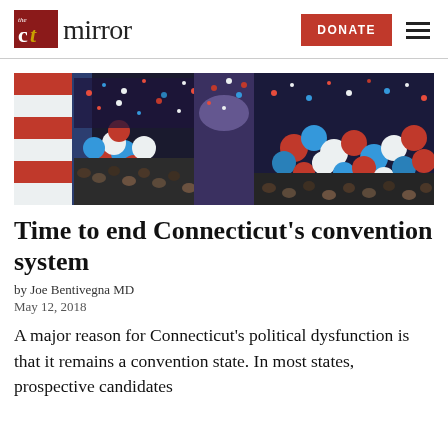the CT Mirror
[Figure (photo): Wide-angle photo of a political convention hall filled with red, white, and blue balloons and confetti, large crowd visible]
Time to end Connecticut’s convention system
by Joe Bentivegna MD
May 12, 2018
A major reason for Connecticut’s political dysfunction is that it remains a convention state. In most states, prospective candidates